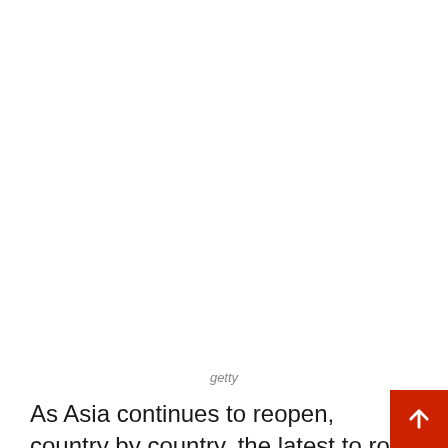[Figure (photo): White/blank image placeholder area at the top of the page]
getty
As Asia continues to reopen, country by country, the latest to roll back restrictions is Cambodia which just opened to fully vaccinated international travelers without a quarantine or entry PCR/antigen test. As travelers commit to bucket list trips they've missed over the last two years, this country should be a top destination as the home of one of the world's most iconic sights, the massive 12th century temple complex of Angkor Wat. And with tourism just starting to trickle back